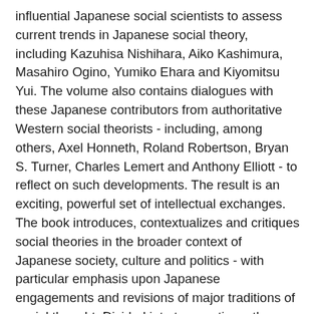influential Japanese social scientists to assess current trends in Japanese social theory, including Kazuhisa Nishihara, Aiko Kashimura, Masahiro Ogino, Yumiko Ehara and Kiyomitsu Yui. The volume also contains dialogues with these Japanese contributors from authoritative Western social theorists - including, among others, Axel Honneth, Roland Robertson, Bryan S. Turner, Charles Lemert and Anthony Elliott - to reflect on such developments. The result is an exciting, powerful set of intellectual exchanges. The book introduces, contextualizes and critiques social theories in the broader context of Japanese society, culture and politics - with particular emphasis upon Japanese engagements and revisions of major traditions of social thought. Divided into two sections, the book surveys traditions of social thought in Japanese social science and presents the major social issues facing contemporary Japan.